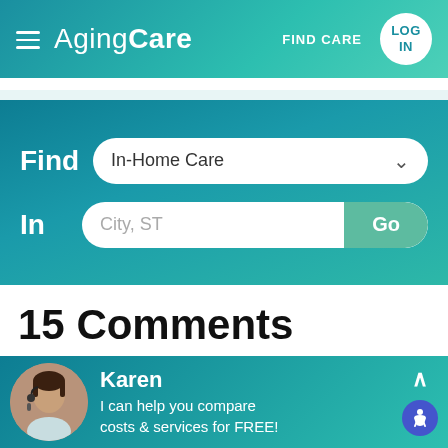AgingCare | FIND CARE | LOG IN
Find In-Home Care
In City, ST Go
15 Comments
Newest | Oldest
Karen
I can help you compare costs & services for FREE!